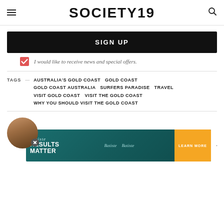SOCIETY19
SIGN UP
I would like to receive news and special offers.
TAGS — AUSTRALIA'S GOLD COAST   GOLD COAST   GOLD COAST AUSTRALIA   SURFERS PARADISE   TRAVEL   VISIT GOLD COAST   VISIT THE GOLD COAST   WHY YOU SHOULD VISIT THE GOLD COAST
[Figure (photo): Bottom section with circular avatar photo, advertisement banner for Batiste 'Results Matter', and 'Scroll To Top' vertical text on the right.]